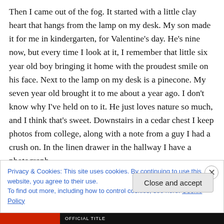Then I came out of the fog. It started with a little clay heart that hangs from the lamp on my desk. My son made it for me in kindergarten, for Valentine's day. He's nine now, but every time I look at it, I remember that little six year old boy bringing it home with the proudest smile on his face. Next to the lamp on my desk is a pinecone. My seven year old brought it to me about a year ago. I don't know why I've held on to it. He just loves nature so much, and I think that's sweet. Downstairs in a cedar chest I keep photos from college, along with a note from a guy I had a crush on. In the linen drawer in the hallway I have a photograph
Privacy & Cookies: This site uses cookies. By continuing to use this website, you agree to their use.
To find out more, including how to control cookies, see here: Cookie Policy
Close and accept